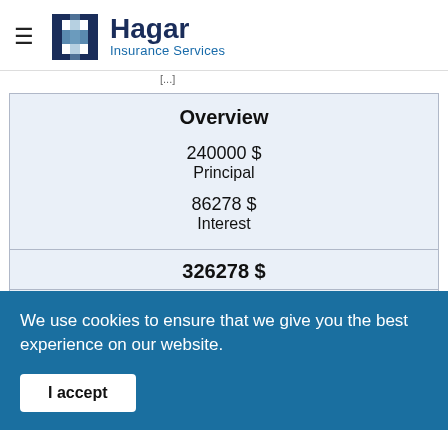Hagar Insurance Services
| Overview |
| --- |
| 240000 $ | Principal |
| 86278 $ | Interest |
| 326278 $ |  |
| 800 $ |  |
We use cookies to ensure that we give you the best experience on our website.
I accept